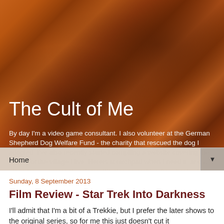The Cult of Me
By day I'm a video game consultant. I also volunteer at the German Shepherd Dog Welfare Fund - the charity that rescued the dog I adopted. I've also recently started compiling a website covering the history of the village I live. Hereis scratchpad when I need it, and a place for my personal projects. It's also an archive from back when this was was my writing blog.
Home ▼
Sunday, 8 September 2013
Film Review - Star Trek Into Darkness
I'll admit that I'm a bit of a Trekkie, but I prefer the later shows to the original series, so for me this just doesn't cut it